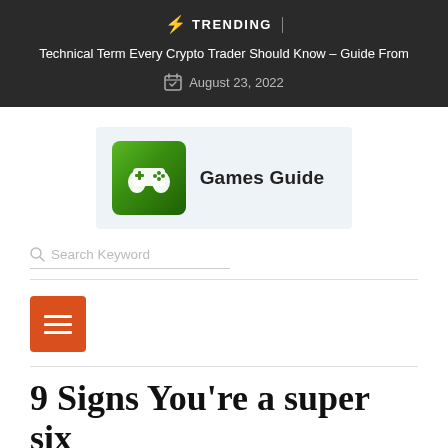⚡ TRENDING | Technical Term Every Crypto Trader Should Know – Guide From | August 23, 2022
[Figure (logo): Games Guide logo with green game controller icon on dark green background, next to 'Games Guide' text label]
Search Keyword
[Figure (infographic): Orange square button with three horizontal white lines (hamburger menu icon)]
9 Signs You're a super six